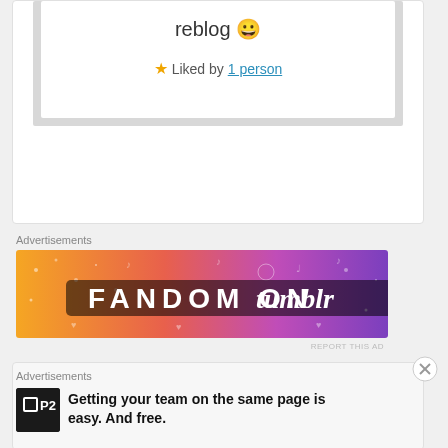reblog 😀
★ Liked by 1 person
Advertisements
[Figure (illustration): Fandom on Tumblr banner advertisement with orange-to-purple gradient background and decorative doodles]
REPORT THIS AD
[Figure (screenshot): Bottom card area partial view]
Advertisements
[Figure (logo): P2 logo — black square with P2 text]
Getting your team on the same page is easy. And free.